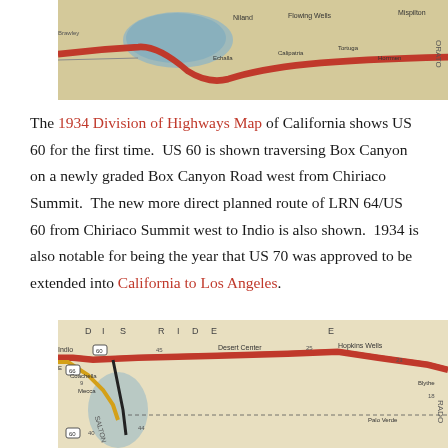[Figure (map): 1934 Division of Highways Map of California showing Box Canyon area, top portion]
The 1934 Division of Highways Map of California shows US 60 for the first time. US 60 is shown traversing Box Canyon on a newly graded Box Canyon Road west from Chiriaco Summit. The new more direct planned route of LRN 64/US 60 from Chiriaco Summit west to Indio is also shown. 1934 is also notable for being the year that US 70 was approved to be extended into California to Los Angeles.
[Figure (map): 1934 Division of Highways Map showing Riverside County area with US 60 route from Indio through Desert Center, Hopkins Wells, toward Blythe and Palo Verde]